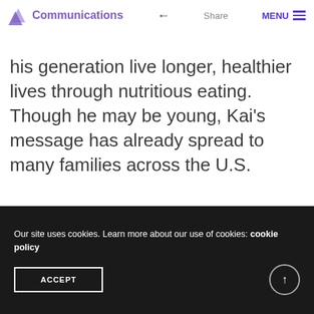Communications — Share — MENU
his generation live longer, healthier lives through nutritious eating. Though he may be young, Kai's message has already spread to many families across the U.S.
[Figure (photo): Faded image strip with a pink/rose oval shape on left side and a white divider in the middle, appearing to be a partial photo]
Our site uses cookies. Learn more about our use of cookies: cookie policy
ACCEPT